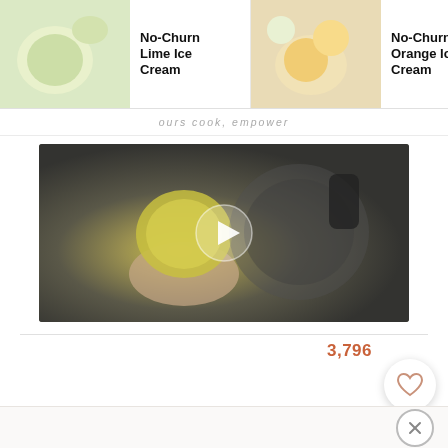[Figure (screenshot): Horizontal carousel of recipe cards showing No-Churn Lime Ice Cream, No-Churn Orange Ice Cream, and No-Churn Vanilla Ice Cream with thumbnail photos]
ours cook, empower
[Figure (screenshot): Video thumbnail showing a hand holding a lime or yellow citrus fruit over a food processor bowl, with a play button overlay]
3,796
[Figure (screenshot): Heart/favorite button (circular white button with heart icon)]
[Figure (screenshot): Search button (circular salmon/pink button with magnifying glass icon)]
[Figure (screenshot): Close (X) button in footer bar]